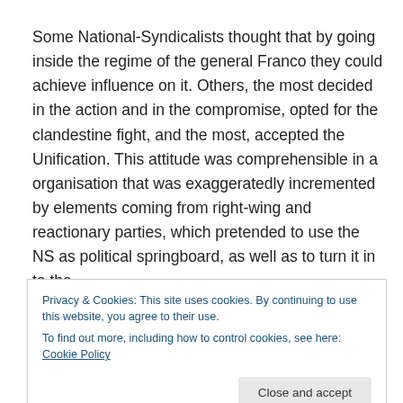Some National-Syndicalists thought that by going inside the regime of the general Franco they could achieve influence on it. Others, the most decided in the action and in the compromise, opted for the clandestine fight, and the most, accepted the Unification. This attitude was comprehensible in a organisation that was exaggeratedly incremented by elements coming from right-wing and reactionary parties, which pretended to use the NS as political springboard, as well as to turn it in to the
Privacy & Cookies: This site uses cookies. By continuing to use this website, you agree to their use.
To find out more, including how to control cookies, see here: Cookie Policy
Close and accept
Rivera (founder of Falange, FE) had accepted the